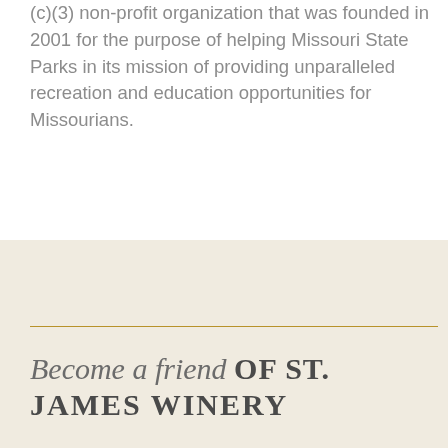(c)(3) non-profit organization that was founded in 2001 for the purpose of helping Missouri State Parks in its mission of providing unparalleled recreation and education opportunities for Missourians.
Become a friend OF ST. JAMES WINERY